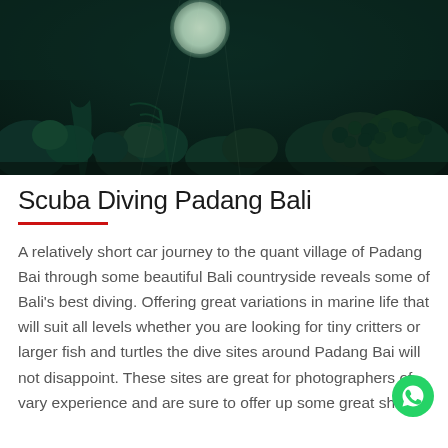[Figure (photo): Underwater photo of a coral reef scene with dark teal-green tones, showing various corals and marine vegetation. A large round object (possibly the moon or a bubble) is visible near the top center.]
Scuba Diving Padang Bali
A relatively short car journey to the quant village of Padang Bai through some beautiful Bali countryside reveals some of Bali's best diving. Offering great variations in marine life that will suit all levels whether you are looking for tiny critters or larger fish and turtles the dive sites around Padang Bai will not disappoint. These sites are great for photographers of vary experience and are sure to offer up some great shots.